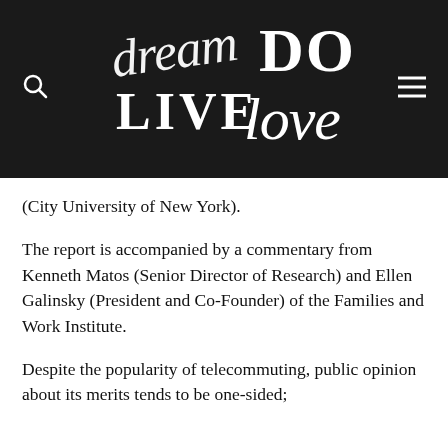[Figure (logo): Dream Do Live Love logo in white handwritten/brush lettering on black background, with search icon on left and hamburger menu icon on right]
(City University of New York).
The report is accompanied by a commentary from Kenneth Matos (Senior Director of Research) and Ellen Galinsky (President and Co-Founder) of the Families and Work Institute.
Despite the popularity of telecommuting, public opinion about its merits tends to be one-sided;